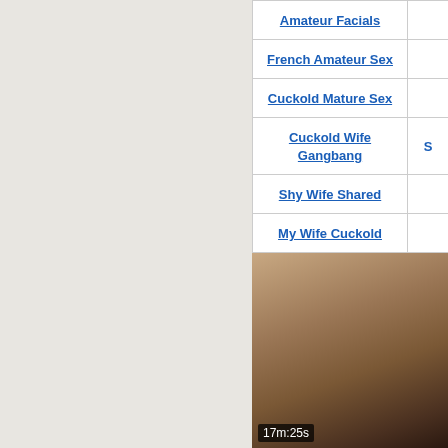Amateur Facials
French Amateur Sex
Cuckold Mature Sex
Cuckold Wife Gangbang
Shy Wife Shared
My Wife Cuckold
[Figure (photo): Video thumbnail showing a person, duration 17m:25s]
Innocent mature white wife tries first time big black cock
101 229 views
90%